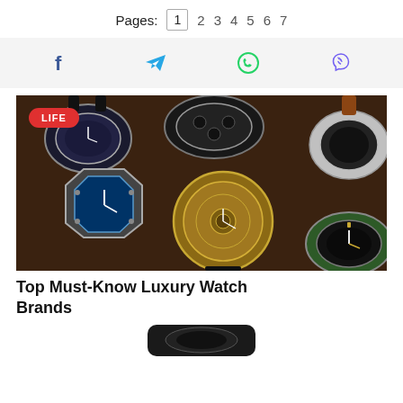Pages: 1 2 3 4 5 6 7
[Figure (infographic): Social sharing icons bar: Facebook (blue f), Telegram (blue paper plane), WhatsApp (green phone), Viber (purple phone with waves)]
[Figure (photo): A collection of luxury watches displayed in a brown leather watch box. Visible brands include Audemars Piguet, Rolex and others. A red 'LIFE' badge is overlaid in the top-left corner of the image.]
Top Must-Know Luxury Watch Brands
[Figure (photo): Partial view of a watch at the bottom of the page]